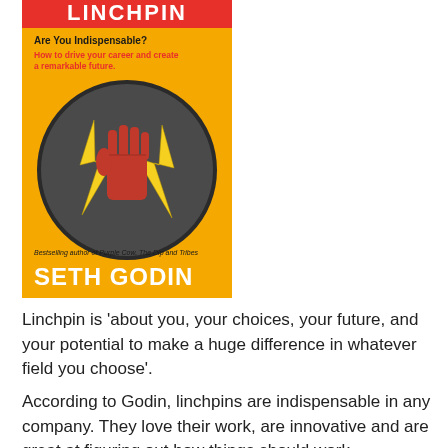[Figure (illustration): Book cover of 'Linchpin: Are You Indispensable?' by Seth Godin. Orange background with red top bar showing 'LINCHPIN' in white bold text. Subtitle 'Are You Indispensable?' and tagline 'How to drive your career and create a remarkable future' in red. Central circular graphic with a fist holding lightning bolts on dark grey background. Author note 'Bestselling author of Purple Cow, The Dip and Tribes'. Author name 'SETH GODIN' in large white bold text at bottom.]
Linchpin is 'about you, your choices, your future, and your potential to make a huge difference in whatever field you choose'.
According to Godin, linchpins are indispensable in any company. They love their work, are innovative and are great at figuring out how things should work.